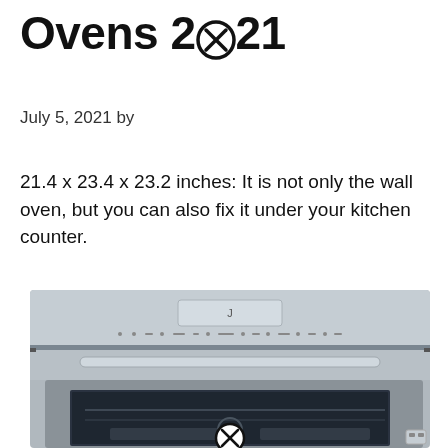Ovens 2021
July 5, 2021 by
21.4 x 23.4 x 23.2 inches: It is not only the wall oven, but you can also fix it under your kitchen counter.
[Figure (photo): A stainless steel wall oven shown from the front, with a control panel at the top featuring a small display and touch buttons, a horizontal handle bar below, and a glass door revealing the oven interior with racks.]